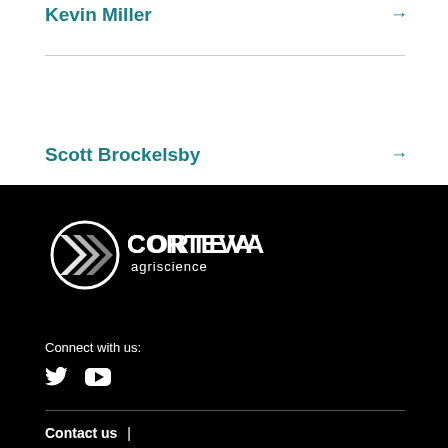Kevin Miller →
Scott Brockelsby →
[Figure (logo): Corteva Agriscience logo in white on black background]
Connect with us:
[Figure (other): Twitter and YouTube social media icons in white]
Contact us  |